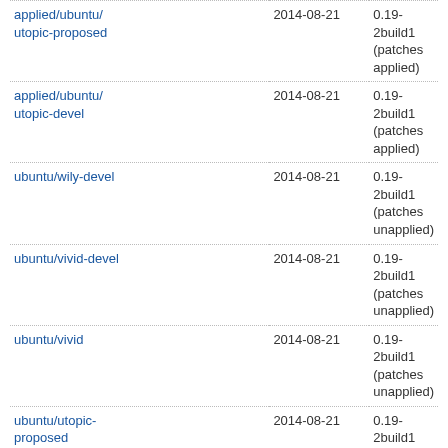| Branch | Date | Version |
| --- | --- | --- |
| applied/ubuntu/utopic-proposed | 2014-08-21 | 0.19-2build1 (patches applied) |
| applied/ubuntu/utopic-devel | 2014-08-21 | 0.19-2build1 (patches applied) |
| ubuntu/wily-devel | 2014-08-21 | 0.19-2build1 (patches unapplied) |
| ubuntu/vivid-devel | 2014-08-21 | 0.19-2build1 (patches unapplied) |
| ubuntu/vivid | 2014-08-21 | 0.19-2build1 (patches unapplied) |
| ubuntu/utopic-proposed | 2014-08-21 | 0.19-2build1 (patches unapplied) |
| ubuntu/utopic-devel | 2014-08-21 | 0.19-2build1 (patches unapplied) |
1 → 100 of 154 results First • Previous • Next ▶ • Last
Other repositories
| Name | Last Modified |
| --- | --- |
| lp:ubuntu/+source/libb-hooks-op-check-perl | 2022-06-11 |